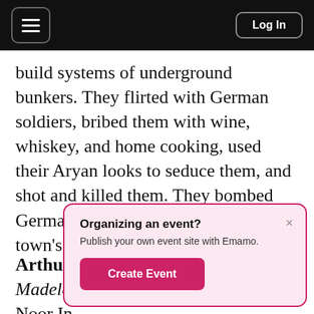≡  Log In
build systems of underground bunkers. They flirted with German soldiers, bribed them with wine, whiskey, and home cooking, used their Aryan looks to seduce them, and shot and killed them. They bombed German train lines and blew up a town's water supply.
Arthur Magida's book Code Name: Madeleine tells the story of Sufi spy Noor In... ar... fa... to...
Organizing an event?
Publish your own event site with Emamo.
Create Event
wartime heroism. Yet, faced with the evils of